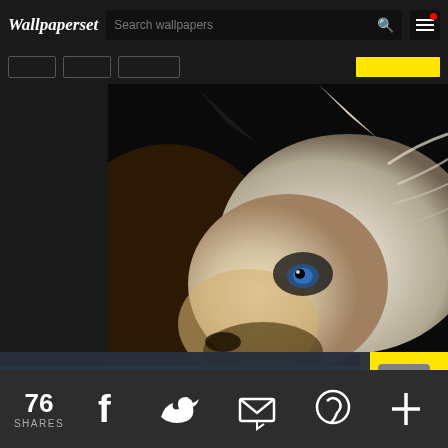Wallpaperset | Search wallpapers
[Figure (screenshot): Navigation sub-header row with three tab outline buttons and a yellow button on the right]
[Figure (photo): Digital painting of a white wolf with intense blue eyes, looking downward, dramatic lighting against dark background]
This website uses cookies.  Learn more
76
SHARES
[Figure (infographic): Social share bar with Facebook, Twitter, email, Pinterest, and plus icons]